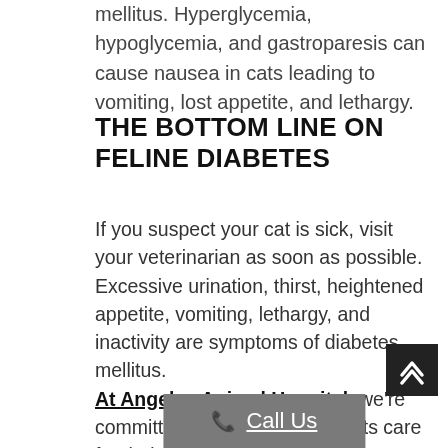mellitus. Hyperglycemia, hypoglycemia, and gastroparesis can cause nausea in cats leading to vomiting, lost appetite, and lethargy.
THE BOTTOM LINE ON FELINE DIABETES
If you suspect your cat is sick, visit your veterinarian as soon as possible. Excessive urination, thirst, heightened appetite, vomiting, lethargy, and inactivity are symptoms of diabetes mellitus. At Angeles Animal Hospital, we're committed to helping pet parents care for their cats throughout their lives. Call us to book an appointment for a check-up and diagnosis of your cat.
Call Us